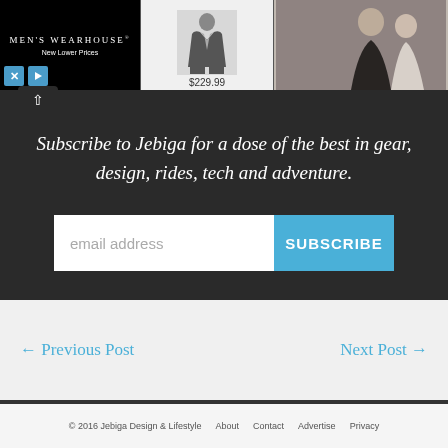[Figure (screenshot): Men's Wearhouse advertisement banner showing a suit for $229.99 and a wedding couple photo]
Subscribe to Jebiga for a dose of the best in gear, design, rides, tech and adventure.
email address
SUBSCRIBE
← Previous Post
Next Post →
© 2016 Jebiga Design & Lifestyle   About   Contact   Advertise   Privacy